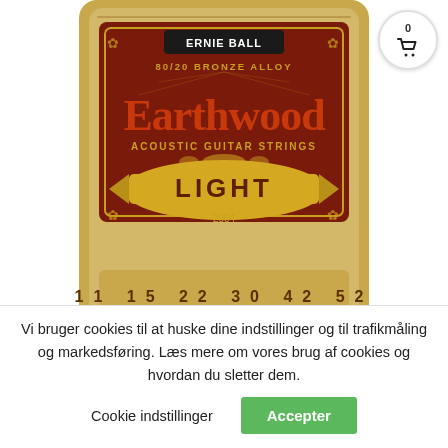[Figure (photo): Ernie Ball Earthwood 80/20 Bronze Alloy Acoustic Guitar Strings Light package (model 2004), showing string gauges 11 15 22 30 42 52 on a golden/tan package with decorative red and brown label design]
Western strenge – Bronze Acoustic .011
Vi bruger cookies til at huske dine indstillinger og til trafikmåling og markedsføring. Læs mere om vores brug af cookies og hvordan du sletter dem.
Cookie indstillinger
Accepter